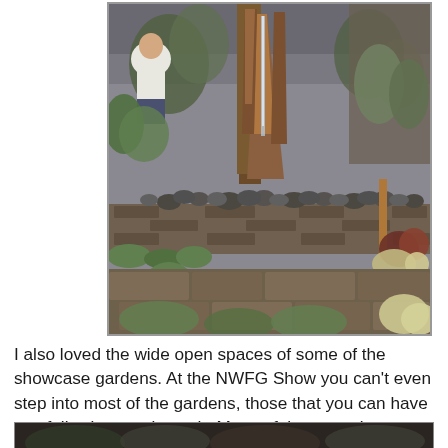[Figure (photo): Garden show display featuring a rustic metal water fountain/sculpture with water flowing, surrounded by lush green plants, succulents, stone retaining wall with rocks, and various garden visitors in the background.]
I also loved the wide open spaces of some of the showcase gardens. At the NWFG Show you can't even step into most of the gardens, those that you can have you following a strict path. Many of these gardens allowed you to walk through in any manner you saw fit.
[Figure (photo): Partial view of another garden display (cropped at bottom of page).]